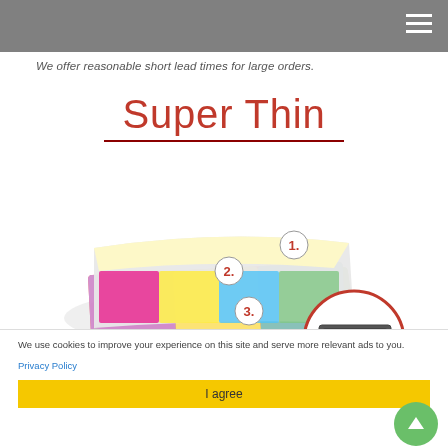We offer reasonable short lead times for large orders.
Super Thin
[Figure (illustration): Product illustration showing thin layered sheets numbered 1, 2, 3 that can be peeled off and stuck to a laptop. Text reads 'Multiple stick and peel off'. A laptop with a colorful sticker is shown inside a red circle.]
We use cookies to improve your experience on this site and serve more relevant ads to you.
Privacy Policy
I agree